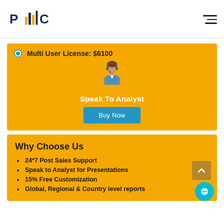[Figure (logo): PMC logo with bar chart icon in dark blue and orange/gold, text 'PMC']
Multi User License: $6100
[Figure (illustration): Customer support / analyst icon: woman with headset wearing blue jacket]
Speak To Analyst
Buy Now
Why Choose Us
24*7 Post Sales Support
Speak to Analyst for Presentations
15% Free Customization
Global, Regional & Country level reports